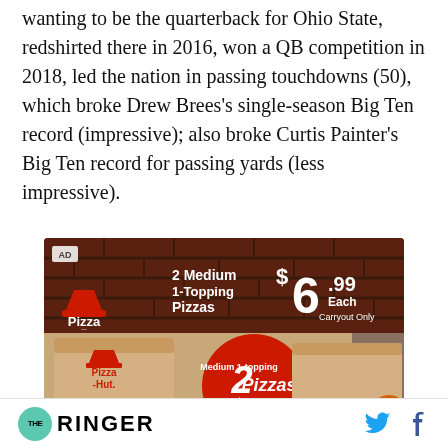wanting to be the quarterback for Ohio State, redshirted there in 2016, won a QB competition in 2018, led the nation in passing touchdowns (50), which broke Drew Brees's single-season Big Ten record (impressive); also broke Curtis Painter's Big Ten record for passing yards (less impressive).
[Figure (other): Pizza Hut advertisement: 2 Medium 1-Topping Pizzas $6.99 Each Carryout Only]
THE RINGER